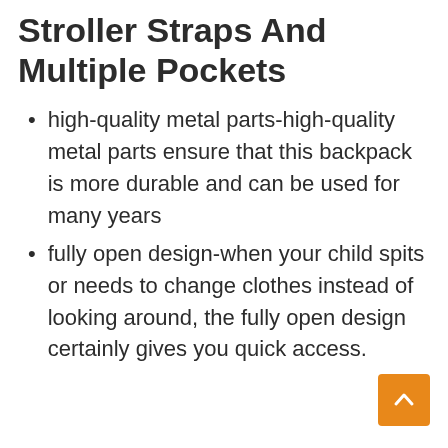Stroller Straps And Multiple Pockets
high-quality metal parts-high-quality metal parts ensure that this backpack is more durable and can be used for many years
fully open design-when your child spits or needs to change clothes instead of looking around, the fully open design certainly gives you quick access.